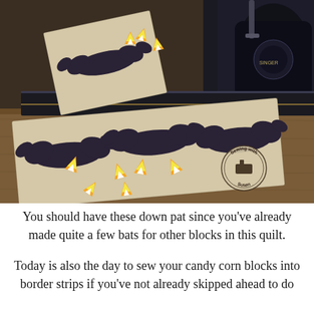[Figure (photo): Photograph of Halloween bat quilt blocks made from cream floral fabric with black bat appliqués, decorated with candy corn pieces, displayed on a wooden surface near a vintage sewing machine. A 'Sewing with Susan' logo watermark is visible in the lower right corner.]
You should have these down pat since you've already made quite a few bats for other blocks in this quilt.
Today is also the day to sew your candy corn blocks into border strips if you've not already skipped ahead to do